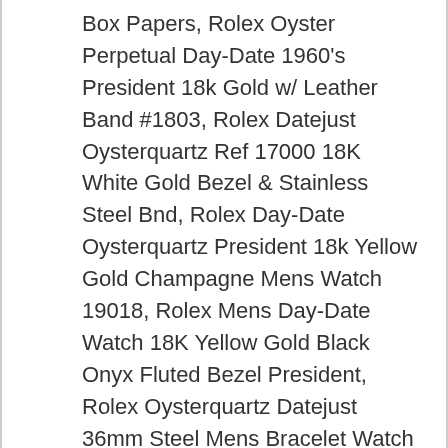Box Papers, Rolex Oyster Perpetual Day-Date 1960's President 18k Gold w/ Leather Band #1803, Rolex Datejust Oysterquartz Ref 17000 18K White Gold Bezel & Stainless Steel Bnd, Rolex Day-Date Oysterquartz President 18k Yellow Gold Champagne Mens Watch 19018, Rolex Mens Day-Date Watch 18K Yellow Gold Black Onyx Fluted Bezel President, Rolex Oysterquartz Datejust 36mm Steel Mens Bracelet Watch 17014, Rolex 36mm Datejust Grey Roman Numeral Dial Two Tone Jubilee Watch Model 16013, 18k YELLOW GOLD ROLEX OYSTER PRESIDENT DAY DATE BARK BLACK DIAL WATCH 18078 36MM, Rolex Day-Date President 18k Yellow Gold Champane Dial 36mm Watch 1803, Ladies Rolex 26mm Datejust Two Tone Diamond Bezel & Lugs White MOP String Dial, ROLEX DAY DATE MEN'S PRESIDENT WATCH,9.5/10,PREOWNED,#18238,ALL PAPERS CASE ETC, Rolex Presidential 36mm Diamond